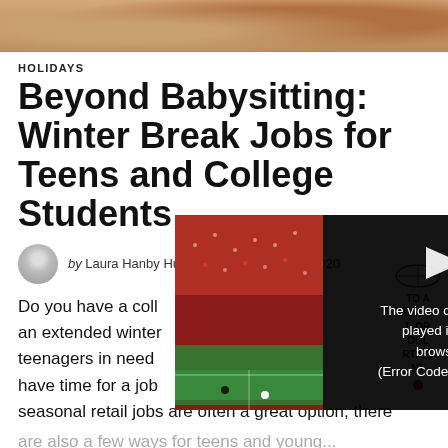[Figure (photo): Top portion of an article header photo showing a warm-toned scene, cropped at top]
HOLIDAYS
Beyond Babysitting: Winter Break Jobs for Teens and College Students
by Laura Hanby Hudgens | November 11, 2020
Do you have a college student or teenager in need of an extended winter break job? While seasonal retail jobs are often a great option, there are also a few ways for teens and young...
[Figure (screenshot): Video player overlay showing a football stadium crowd on left, and error message on right: 'The video cannot be played in this browser. (Error Code: 242632)']